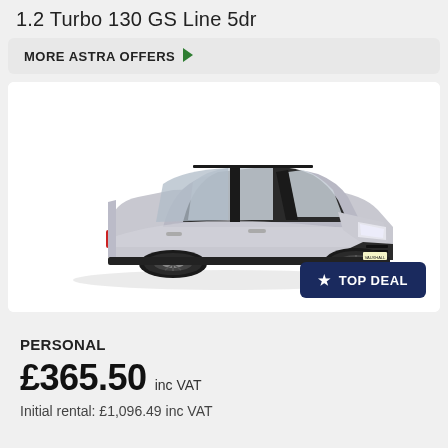1.2 Turbo 130 GS Line 5dr
MORE ASTRA OFFERS ▶
[Figure (photo): Silver Vauxhall Astra Sports Tourer estate car shown in three-quarter front view against white background, with a dark navy 'TOP DEAL' badge with star icon in bottom-right corner]
PERSONAL
£365.50 inc VAT
Initial rental: £1,096.49 inc VAT